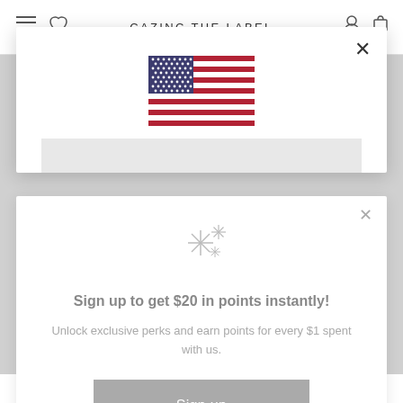CAZINC THE LABEL
[Figure (screenshot): US flag shown in a country selector modal overlay on an e-commerce website]
Sign up to get $20 in points instantly!
Unlock exclusive perks and earn points for every $1 spent with us.
Sign up
Already have an account? Sign in
Size Guide